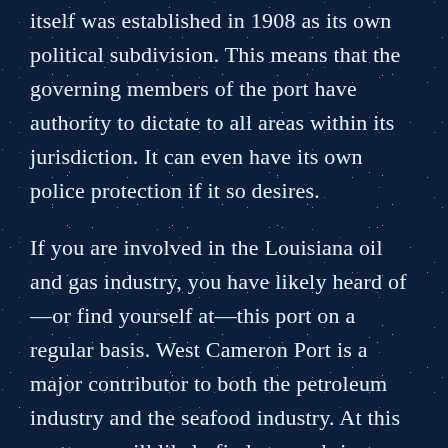itself was established in 1908 as its own political subdivision. This means that the governing members of the port have authority to dictate to all areas within its jurisdiction. It can even have its own police protection if it so desires.
If you are involved in the Louisiana oil and gas industry, you have likely heard of—or find yourself at—this port on a regular basis. West Cameron Port is a major contributor to both the petroleum industry and the seafood industry. At this port, you will likely find many shrimp boats and commercial fishing vessels.
There are also other types of cargo that pass through this port on a regular basis.